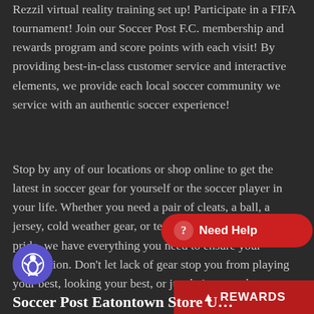Rezzil virtual reality training set up! Participate in a FIFA tournament! Join our Soccer Post F.C. membership and rewards program and score points with each visit! By providing best-in-class customer service and interactive elements, we provide each local soccer community we service with an authentic soccer experience!
Stop by any of our locations or shop online to get the latest in soccer gear for yourself or the soccer player in your life. Whether you need a pair of cleats, a ball, a jersey, cold weather gear, or team apparel to show your pride, we have everything you need to ensure your satisfaction. Don't let lack of gear stop you from playing your best, looking your best, or just being your best…
[Figure (other): Purple circular accessibility button with a white person/accessibility icon]
[Figure (other): Red rounded pill-shaped Need Help button with a question mark icon]
[Figure (other): Dark red REWARDS bar with upward arrow at bottom right]
Soccer Post Eatontown Store U...